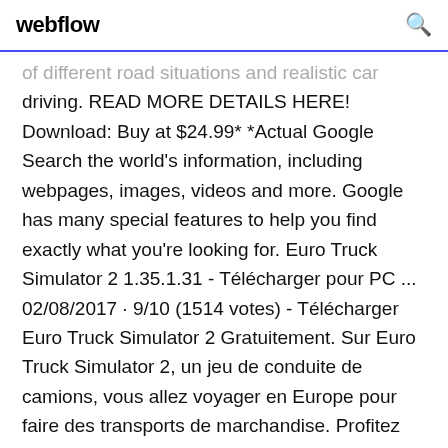webflow
of different road situations and realistic car driving. READ MORE DETAILS HERE! Download: Buy at $24.99* *Actual Google Search the world's information, including webpages, images, videos and more. Google has many special features to help you find exactly what you're looking for. Euro Truck Simulator 2 1.35.1.31 - Télécharger pour PC ... 02/08/2017 · 9/10 (1514 votes) - Télécharger Euro Truck Simulator 2 Gratuitement. Sur Euro Truck Simulator 2, un jeu de conduite de camions, vous allez voyager en Europe pour faire des transports de marchandise. Profitez de ce simulateur. La plupart des simulateurs de conduite du marché se concentrent sur les City